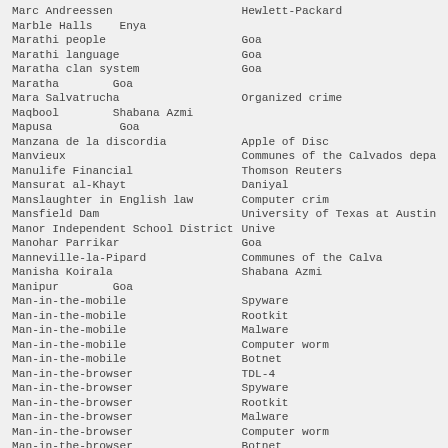| Marc Andreessen | Hewlett-Packard |
| Marble Halls    Enya |  |
| Marathi people | Goa |
| Marathi language | Goa |
| Maratha clan system | Goa |
| Maratha | Goa |
| Mara Salvatrucha | Organized crime |
| Maqbool | Shabana Azmi |
| Mapusa | Goa |
| Manzana de la discordia | Apple of Disc |
| Manvieux | Communes of the Calvados depa |
| Manulife Financial | Thomson Reuters |
| Mansurat al-Khayt | Daniyal |
| Manslaughter in English law | Computer crim |
| Mansfield Dam | University of Texas at Austin |
| Manor Independent School District | Unive |
| Manohar Parrikar | Goa |
| Manneville-la-Pipard | Communes of the Calva |
| Manisha Koirala | Shabana Azmi |
| Manipur | Goa |
| Man-in-the-mobile | Spyware |
| Man-in-the-mobile | Rootkit |
| Man-in-the-mobile | Malware |
| Man-in-the-mobile | Computer worm |
| Man-in-the-mobile | Botnet |
| Man-in-the-browser | TDL-4 |
| Man-in-the-browser | Spyware |
| Man-in-the-browser | Rootkit |
| Man-in-the-browser | Malware |
| Man-in-the-browser | Computer worm |
| Man-in-the-browser | Botnet |